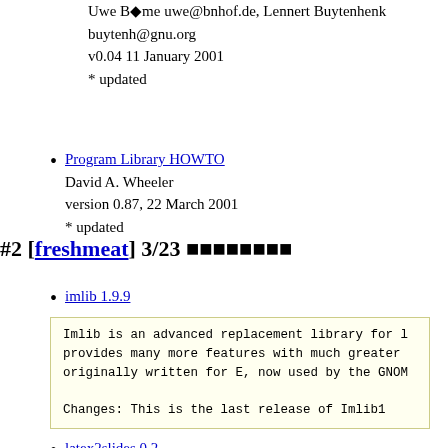Uwe Böme uwe@bnhof.de, Lennert Buytenhenk buytenh@gnu.org
v0.04 11 January 2001
* updated
Program Library HOWTO
David A. Wheeler
version 0.87, 22 March 2001
* updated
#2 [freshmeat] 3/23 ■■■■■■■■
imlib 1.9.9
Imlib is an advanced replacement library for l... provides many more features with much greater... originally written for E, now used by the GNOM...

Changes: This is the last release of Imlib1
latex2slides 0.2
Latex2slides is a simple graphical program tha... slides from a TeX or LaTeX source. Each Postsc... JPEG image using ImageMagick's convert. The pr... nies for each JPEG (an slide), and an index...